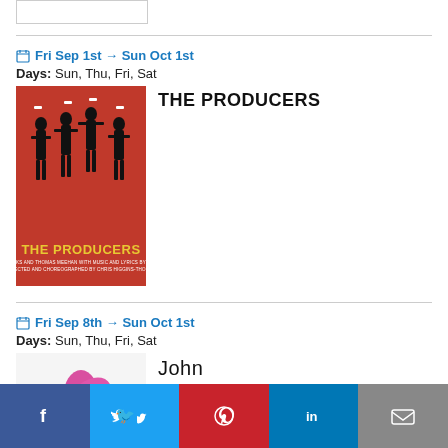[Figure (other): Small white rectangle image placeholder at top]
Fri Sep 1st → Sun Oct 1st
Days: Sun, Thu, Fri, Sat
[Figure (photo): The Producers musical poster - red background with black silhouette dancers, text THE PRODUCERS at bottom]
THE PRODUCERS
Fri Sep 8th → Sun Oct 1st
Days: Sun, Thu, Fri, Sat
[Figure (photo): Pink/magenta flower with green leaves on white background]
John
f  Twitter  Pinterest  in  Email